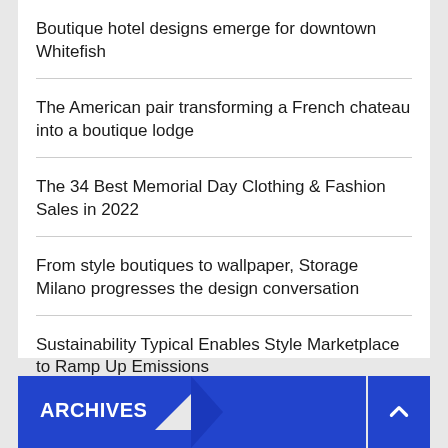Boutique hotel designs emerge for downtown Whitefish
The American pair transforming a French chateau into a boutique lodge
The 34 Best Memorial Day Clothing & Fashion Sales in 2022
From style boutiques to wallpaper, Storage Milano progresses the design conversation
Sustainability Typical Enables Style Marketplace to Ramp Up Emissions
ARCHIVES